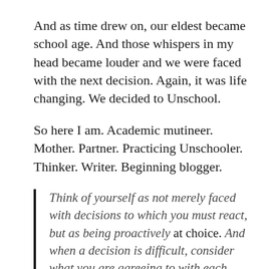And as time drew on, our eldest became school age. And those whispers in my head became louder and we were faced with the next decision. Again, it was life changing. We decided to Unschool.
So here I am. Academic mutineer. Mother. Partner. Practicing Unschooler. Thinker. Writer. Beginning blogger.
Think of yourself as not merely faced with decisions to which you must react, but as being proactively at choice. And when a decision is difficult, consider what you are agreeing to with each choice, and what it says about the